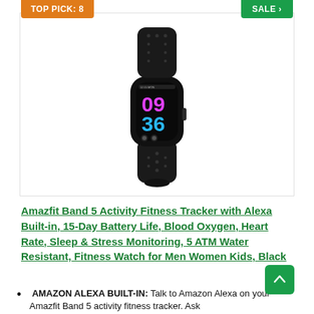TOP PICK: 8
SALE
[Figure (photo): Amazfit Band 5 fitness tracker in black color, showing a colorful digital watch face displaying time 09:36, angled product view on white background.]
Amazfit Band 5 Activity Fitness Tracker with Alexa Built-in, 15-Day Battery Life, Blood Oxygen, Heart Rate, Sleep & Stress Monitoring, 5 ATM Water Resistant, Fitness Watch for Men Women Kids, Black
AMAZON ALEXA BUILT-IN: Talk to Amazon Alexa on your Amazfit Band 5 activity fitness tracker. Ask